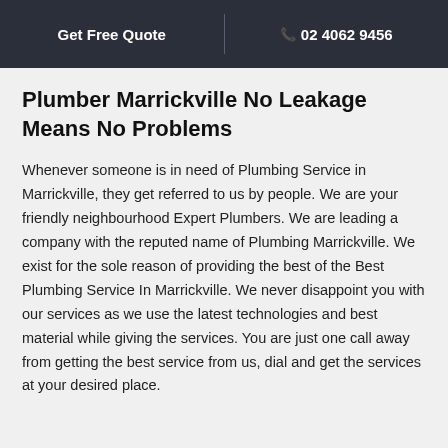Get Free Quote | 02 4062 9456
Plumber Marrickville No Leakage Means No Problems
Whenever someone is in need of Plumbing Service in Marrickville, they get referred to us by people. We are your friendly neighbourhood Expert Plumbers. We are leading a company with the reputed name of Plumbing Marrickville. We exist for the sole reason of providing the best of the Best Plumbing Service In Marrickville. We never disappoint you with our services as we use the latest technologies and best material while giving the services. You are just one call away from getting the best service from us, dial and get the services at your desired place.